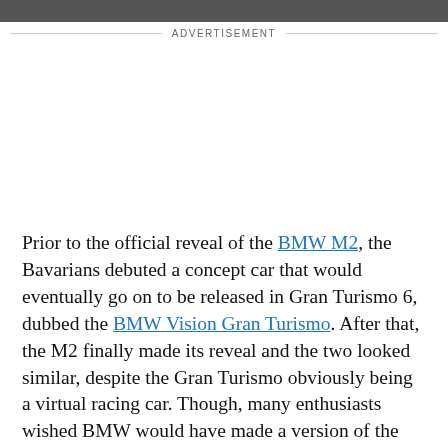[Figure (photo): Partial view of a BMW car — dark/grey tones, cropped at top of page]
ADVERTISEMENT
Prior to the official reveal of the BMW M2, the Bavarians debuted a concept car that would eventually go on to be released in Gran Turismo 6, dubbed the BMW Vision Gran Turismo. After that, the M2 finally made its reveal and the two looked similar, despite the Gran Turismo obviously being a virtual racing car. Though, many enthusiasts wished BMW would have made a version of the M2 that looked like the concept that preceded it. So Darwin Pro and MTC Design collaborated to make it